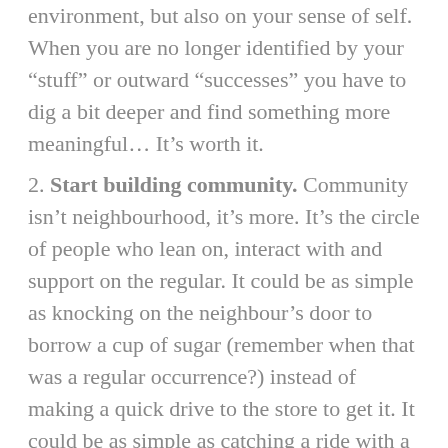environment, but also on your sense of self. When you are no longer identified by your “stuff” or outward “successes” you have to dig a bit deeper and find something more meaningful… It’s worth it.
2. Start building community. Community isn’t neighbourhood, it’s more. It’s the circle of people who lean on, interact with and support on the regular. It could be as simple as knocking on the neighbour’s door to borrow a cup of sugar (remember when that was a regular occurrence?) instead of making a quick drive to the store to get it. It could be as simple as catching a ride with a friend, or posting an ad for a carpool, instead of driving solo. Whatever it is, if it strengthens relationships and builds interdependence, it’s a community-building